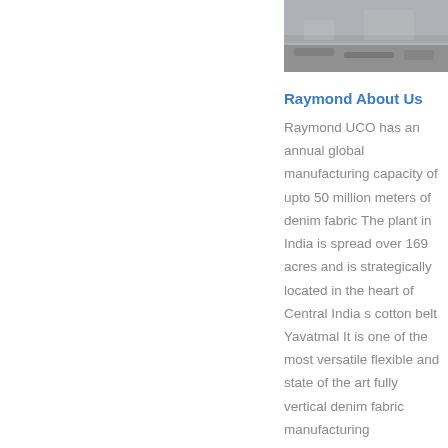[Figure (photo): Partial photo of what appears to be an industrial or outdoor facility, showing a grey/concrete surface or ground area.]
Raymond About Us
Raymond UCO has an annual global manufacturing capacity of upto 50 million meters of denim fabric The plant in India is spread over 169 acres and is strategically located in the heart of Central India s cotton belt Yavatmal It is one of the most versatile flexible and state of the art fully vertical denim fabric manufacturing